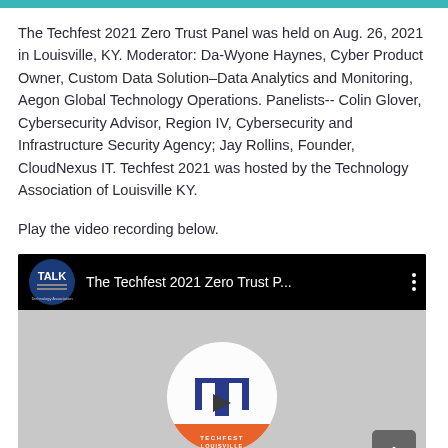The Techfest 2021 Zero Trust Panel was held on Aug. 26, 2021 in Louisville, KY. Moderator: Da-Wyone Haynes, Cyber Product Owner, Custom Data Solution–Data Analytics and Monitoring, Aegon Global Technology Operations. Panelists-- Colin Glover, Cybersecurity Advisor, Region IV, Cybersecurity and Infrastructure Security Agency; Jay Rollins, Founder, CloudNexus IT. Techfest 2021 was hosted by the Technology Association of Louisville KY.
Play the video recording below.
[Figure (screenshot): YouTube video embed thumbnail showing The Techfest 2021 Zero Trust Panel video, with TALK (Technology Association of Louisville KY) logo in top left, video title 'The Techfest 2021 Zero Trust P...' in header bar, and a play button with Techfest Louisville logo overlay on gray background. A back-to-top button is visible in the bottom right corner.]